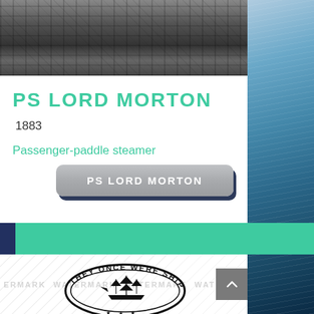[Figure (photo): Black and white photograph of industrial scaffolding structure, top portion visible]
PS LORD MORTON
1883
Passenger-paddle steamer
PS LORD MORTON
[Figure (photo): Ocean water photograph on right side panel]
[Figure (logo): They Once Were Shipbuilders circular logo with sailing ship illustration]